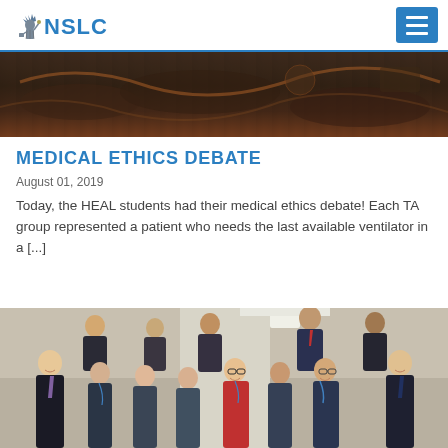NSLC
[Figure (photo): Top banner photo showing medical/educational equipment, partially visible at the top of the article card.]
MEDICAL ETHICS DEBATE
August 01, 2019
Today, the HEAL students had their medical ethics debate! Each TA group represented a patient who needs the last available ventilator in a [...]
[Figure (photo): Group photo of approximately 15 HEAL students and staff in formal attire, smiling and posing together in what appears to be a modern building interior.]